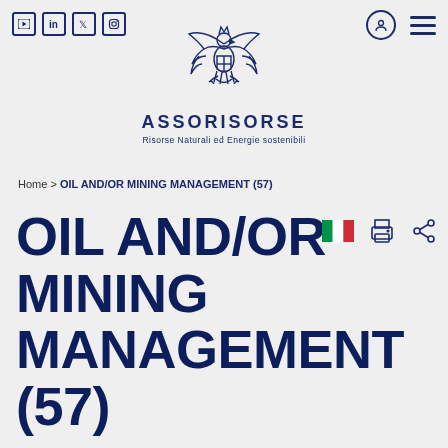[Figure (logo): Assorisorse eagle logo with stylized bird and ASSORISORSE text, subtitle: Risorse Naturali ed Energie sostenibili]
Home > OIL AND/OR MINING MANAGEMENT (57)
OIL AND/OR MINING MANAGEMENT (57)